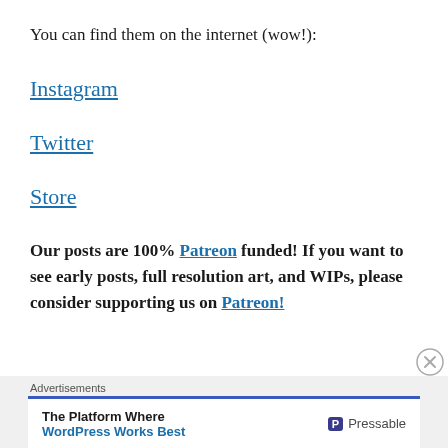You can find them on the internet (wow!):
Instagram
Twitter
Store
Our posts are 100% Patreon funded! If you want to see early posts, full resolution art, and WIPs, please consider supporting us on Patreon!
Advertisements — The Platform Where WordPress Works Best — Pressable